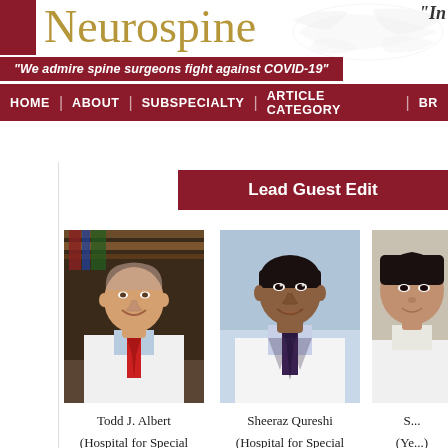Neurospine
"We admire spine surgeons fight against COVID-19"
HOME | ABOUT | SUBSPECIALTY | ARTICLE CATEGORY | BR...
Lead Guest Edit...
[Figure (photo): Portrait photo of Todd J. Albert, male physician in white coat with red tie]
Todd J. Albert
(Hospital for Special Surgery, USA)
[Figure (photo): Portrait photo of Sheeraz Qureshi, male physician in white coat with dark tie]
Sheeraz Qureshi
(Hospital for Special Surgery, USA)
[Figure (photo): Partial portrait photo of third editor]
S...
(Ye...)